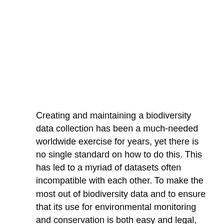Creating and maintaining a biodiversity data collection has been a much-needed worldwide exercise for years, yet there is no single standard on how to do this. This has led to a myriad of datasets often incompatible with each other. To make the most out of biodiversity data and to ensure that its use for environmental monitoring and conservation is both easy and legal, the FP7-funded EU project Building the European Biodiversity Observation Network (EU BON) published recommendations that provide consistent Europe-wide Data Publishing Guidelines and Recommendations in the EU BON